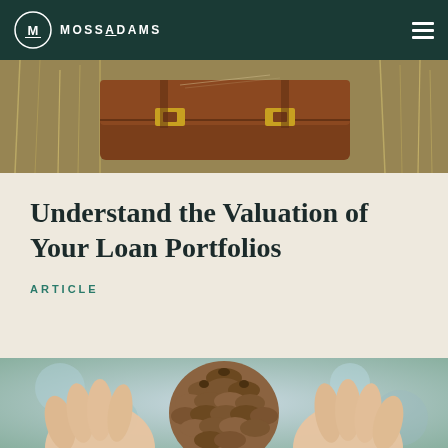MOSS ADAMS
[Figure (photo): Close-up of a brown leather satchel or bag with buckle straps against a background of dry grass or reeds]
Understand the Valuation of Your Loan Portfolios
ARTICLE
[Figure (photo): Close-up of two hands holding a pine cone against a blurred blue and green background]